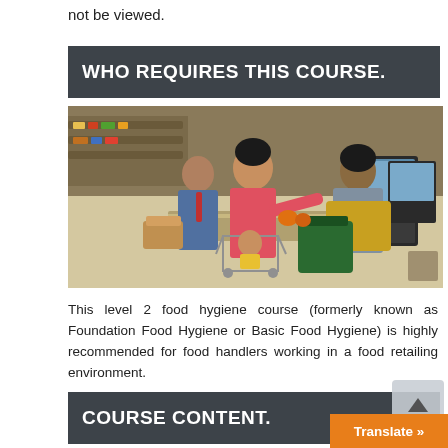not be viewed.
WHO REQUIRES THIS COURSE.
[Figure (photo): Grocery store checkout scene: a woman in a pink cardigan paying a cashier in a yellow apron, with a child in a shopping cart and point-of-sale terminals visible.]
This level 2 food hygiene course (formerly known as Foundation Food Hygiene or Basic Food Hygiene) is highly recommended for food handlers working in a food retailing environment.
COURSE CONTENT.